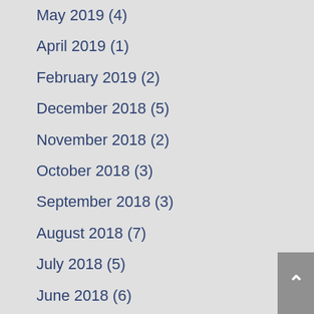May 2019 (4)
April 2019 (1)
February 2019 (2)
December 2018 (5)
November 2018 (2)
October 2018 (3)
September 2018 (3)
August 2018 (7)
July 2018 (5)
June 2018 (6)
May 2018 (2)
April 2018 (4)